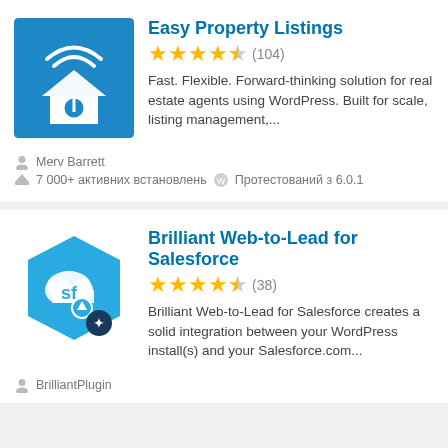[Figure (screenshot): Blue plugin icon with white house and wifi/power symbol for Easy Property Listings]
Easy Property Listings
★★★★½ (104)
Fast. Flexible. Forward-thinking solution for real estate agents using WordPress. Built for scale, listing management,...
Merv Barrett
7 000+ активних встановлень  Протестований з 6.0.1
[Figure (screenshot): Blue hexagon plugin icon with cloud and 'sf' text for Brilliant Web-to-Lead for Salesforce]
Brilliant Web-to-Lead for Salesforce
★★★★½ (38)
Brilliant Web-to-Lead for Salesforce creates a solid integration between your WordPress install(s) and your Salesforce.com...
BrilliantPlugin